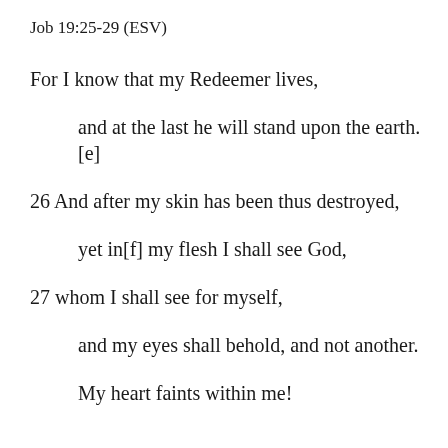Job 19:25-29 (ESV)
For I know that my Redeemer lives,
and at the last he will stand upon the earth.[e]
26 And after my skin has been thus destroyed,
yet in[f] my flesh I shall see God,
27 whom I shall see for myself,
and my eyes shall behold, and not another.
My heart faints within me!